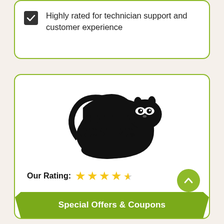Highly rated for technician support and customer experience
[Figure (logo): Critter Control logo — black raccoon silhouette with CRITTER CONTROL text]
Our Rating: ★★★★½
Detroit, MI 48228
Read Our Reviews >
Back To Top
Special Offers & Coupons